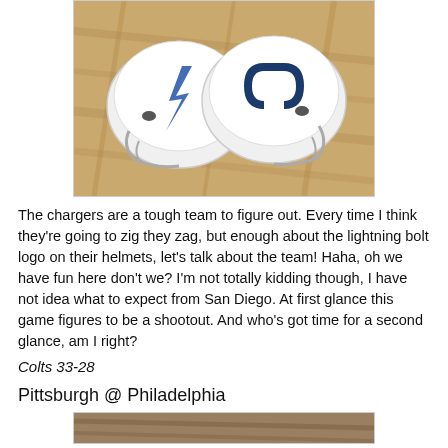[Figure (photo): Two miniature NFL football helmets (San Diego Chargers and Indianapolis Colts) facing each other on a wooden surface]
The chargers are a tough team to figure out. Every time I think they're going to zig they zag, but enough about the lightning bolt logo on their helmets, let's talk about the team! Haha, oh we have fun here don't we? I'm not totally kidding though, I have not idea what to expect from San Diego. At first glance this game figures to be a shootout. And who's got time for a second glance, am I right?
Colts 33-28
Pittsburgh @ Philadelphia
[Figure (photo): Bottom partial photo (cropped)]